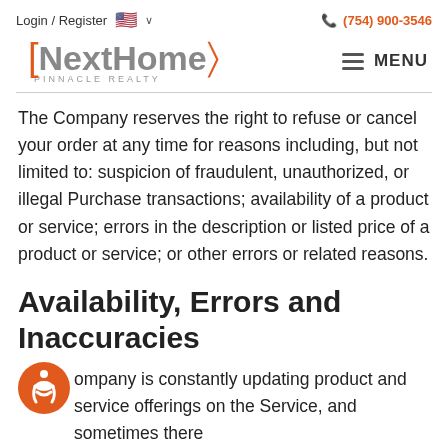Login / Register   🇺🇸 ∨   (754) 900-3546
[Figure (logo): NextHome Pinnacle Realty logo with orange bracket and chevron marks]
The Company reserves the right to refuse or cancel your order at any time for reasons including, but not limited to: suspicion of fraudulent, unauthorized, or illegal Purchase transactions; availability of a product or service; errors in the description or listed price of a product or service; or other errors or related reasons.
Availability, Errors and Inaccuracies
ompany is constantly updating product and service offerings on the Service, and sometimes there